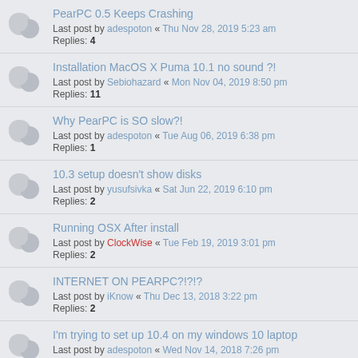PearPC 0.5 Keeps Crashing
Last post by adespoton « Thu Nov 28, 2019 5:23 am
Replies: 4
Installation MacOS X Puma 10.1 no sound ?!
Last post by Sebiohazard « Mon Nov 04, 2019 8:50 pm
Replies: 11
Why PearPC is SO slow?!
Last post by adespoton « Tue Aug 06, 2019 6:38 pm
Replies: 1
10.3 setup doesn't show disks
Last post by yusufsivka « Sat Jun 22, 2019 6:10 pm
Replies: 2
Running OSX After install
Last post by ClockWise « Tue Feb 19, 2019 3:01 pm
Replies: 2
INTERNET ON PEARPC?!?!?
Last post by iKnow « Thu Dec 13, 2018 3:22 pm
Replies: 2
I'm trying to set up 10.4 on my windows 10 laptop
Last post by adespoton « Wed Nov 14, 2018 7:26 pm
Replies: 5
PearPC on Windows 10
Last post by adespoton « Tue Oct 23, 2018 3:55 pm